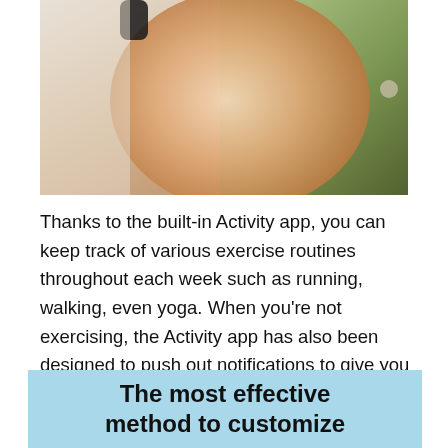[Figure (photo): Close-up photo of a hand wearing a fitness tracker/smartwatch with green foliage visible in the background]
Thanks to the built-in Activity app, you can keep track of various exercise routines throughout each week such as running, walking, even yoga. When you're not exercising, the Activity app has also been designed to push out notifications to give you an extra push. Happily, these are easy to modify to suit your personal needs.
The most effective method to customize